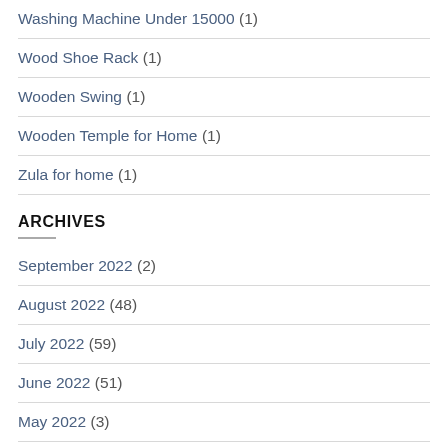Washing Machine Under 15000 (1)
Wood Shoe Rack (1)
Wooden Swing (1)
Wooden Temple for Home (1)
Zula for home (1)
ARCHIVES
September 2022 (2)
August 2022 (48)
July 2022 (59)
June 2022 (51)
May 2022 (3)